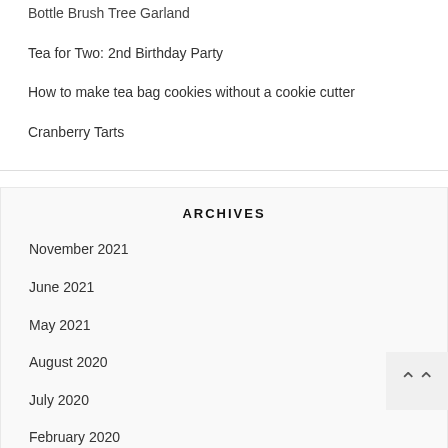Bottle Brush Tree Garland
Tea for Two: 2nd Birthday Party
How to make tea bag cookies without a cookie cutter
Cranberry Tarts
ARCHIVES
November 2021
June 2021
May 2021
August 2020
July 2020
February 2020
January 2020